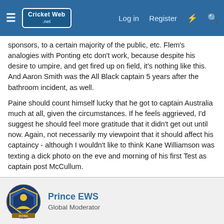CricketWeb.net | Log in | Register
sponsors, to a certain majority of the public, etc. Flem's analogies with Ponting etc don't work, because despite his desire to umpire, and get fired up on field, it's nothing like this. And Aaron Smith was the All Black captain 5 years after the bathroom incident, as well.

Paine should count himself lucky that he got to captain Australia much at all, given the circumstances. If he feels aggrieved, I'd suggest he should feel more gratitude that it didn't get out until now. Again, not necessarily my viewpoint that it should affect his captaincy - although I wouldn't like to think Kane Williamson was texting a dick photo on the eve and morning of his first Test as captain post McCullum.
Prince EWS
Global Moderator
Nov 23, 2021 | #379